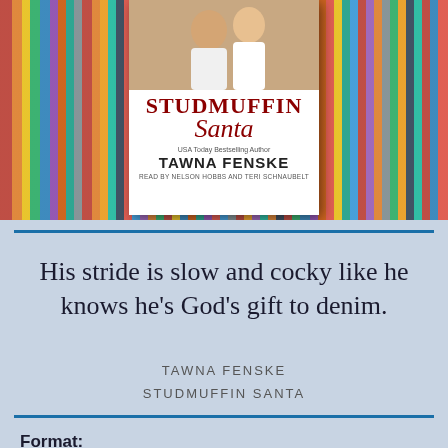[Figure (illustration): Book cover for 'Studmuffin Santa' by Tawna Fenske, audiobook edition read by Nelson Hobbs and Teri Schnaubelt, displayed against a colorful bookshelf background.]
His stride is slow and cocky like he knows he’s God’s gift to denim.
TAWNA FENSKE
STUDMUFFIN SANTA
Format: